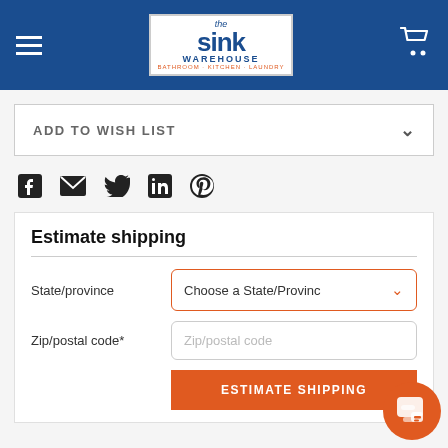[Figure (logo): The Sink Warehouse logo on blue header bar with hamburger menu and cart icon]
ADD TO WISH LIST
[Figure (infographic): Social sharing icons: Facebook, Email, Twitter, LinkedIn, Pinterest]
Estimate shipping
State/province
Choose a State/Province
Zip/postal code*
Zip/postal code
ESTIMATE SHIPPING